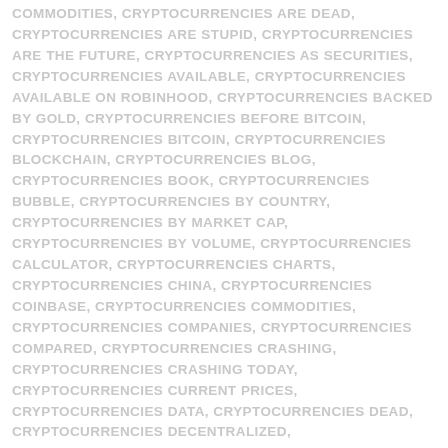COMMODITIES, CRYPTOCURRENCIES ARE DEAD, CRYPTOCURRENCIES ARE STUPID, CRYPTOCURRENCIES ARE THE FUTURE, CRYPTOCURRENCIES AS SECURITIES, CRYPTOCURRENCIES AVAILABLE, CRYPTOCURRENCIES AVAILABLE ON ROBINHOOD, CRYPTOCURRENCIES BACKED BY GOLD, CRYPTOCURRENCIES BEFORE BITCOIN, CRYPTOCURRENCIES BITCOIN, CRYPTOCURRENCIES BLOCKCHAIN, CRYPTOCURRENCIES BLOG, CRYPTOCURRENCIES BOOK, CRYPTOCURRENCIES BUBBLE, CRYPTOCURRENCIES BY COUNTRY, CRYPTOCURRENCIES BY MARKET CAP, CRYPTOCURRENCIES BY VOLUME, CRYPTOCURRENCIES CALCULATOR, CRYPTOCURRENCIES CHARTS, CRYPTOCURRENCIES CHINA, CRYPTOCURRENCIES COINBASE, CRYPTOCURRENCIES COMMODITIES, CRYPTOCURRENCIES COMPANIES, CRYPTOCURRENCIES COMPARED, CRYPTOCURRENCIES CRASHING, CRYPTOCURRENCIES CRASHING TODAY, CRYPTOCURRENCIES CURRENT PRICES, CRYPTOCURRENCIES DATA, CRYPTOCURRENCIES DEAD, CRYPTOCURRENCIES DECENTRALIZED, CRYPTOCURRENCIES DEFINED, CRYPTOCURRENCIES DEFINITION, CRYPTOCURRENCIES